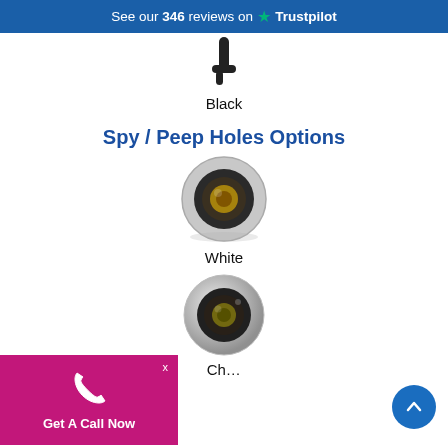See our 346 reviews on ★ Trustpilot
Black
Spy / Peep Holes Options
[Figure (photo): Peephole/spy hole fitting in white finish, circular lens visible]
White
[Figure (photo): Peephole/spy hole fitting in chrome/satin finish, circular lens visible]
Ch...
[Figure (illustration): Get A Call Now button overlay with phone icon and magenta background]
[Figure (illustration): Back to top arrow button, circular, blue]